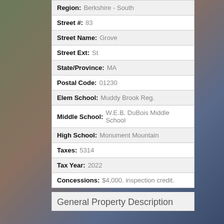| Region: | Berkshire - South |
| Street #: | 83 |
| Street Name: | Grove |
| Street Ext: | St |
| State/Province: | MA |
| Postal Code: | 01230 |
| Elem School: | Muddy Brook Reg. |
| Middle School: | W.E.B. DuBois Middle School |
| High School: | Monument Mountain |
| Taxes: | 5314 |
| Tax Year: | 2022 |
| Concessions: | $4,000. inspection credit. |
General Property Description